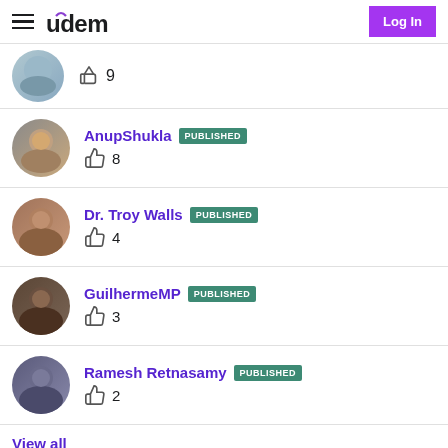Udemy — Log In
9 likes (partial item, avatar truncated)
AnupShukla PUBLISHED — 8 likes
Dr. Troy Walls PUBLISHED — 4 likes
GuilhermeMP PUBLISHED — 3 likes
Ramesh Retnasamy PUBLISHED — 2 likes
View all